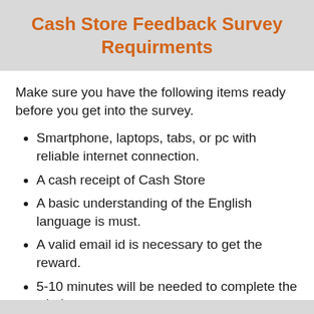Cash Store Feedback Survey Requirments
Make sure you have the following items ready before you get into the survey.
Smartphone, laptops, tabs, or pc with reliable internet connection.
A cash receipt of Cash Store
A basic understanding of the English language is must.
A valid email id is necessary to get the reward.
5-10 minutes will be needed to complete the whole survey.